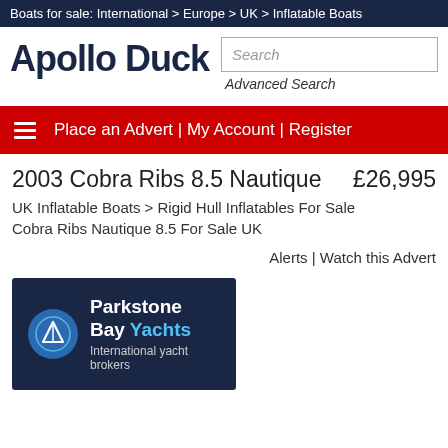Boats for sale: International > Europe > UK > Inflatable Boats
[Figure (logo): Apollo Duck logo - bold dark navy text]
Advanced Search
Place an Advert | My Account | Register
2003 Cobra Ribs 8.5 Nautique £26,995
UK Inflatable Boats > Rigid Hull Inflatables For Sale
Cobra Ribs Nautique 8.5 For Sale UK
Alerts | Watch this Advert
[Figure (logo): Parkstone Bay Yachts dealer banner on dark navy background with sailboat circle logo. Text: Parkstone Bay Yachts, International yacht brokers]